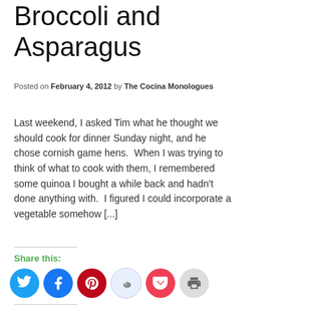Broccoli and Asparagus
Posted on February 4, 2012 by The Cocina Monologues
Last weekend, I asked Tim what he thought we should cook for dinner Sunday night, and he chose cornish game hens.  When I was trying to think of what to cook with them, I remembered some quinoa I bought a while back and hadn't done anything with.  I figured I could incorporate a vegetable somehow [...]
Share this:
[Figure (infographic): Row of social sharing icon buttons: Twitter (blue), Facebook (dark blue), Pinterest (dark red), Reddit (light blue), Pocket (red/pink), Print (gray)]
Like this:
Like